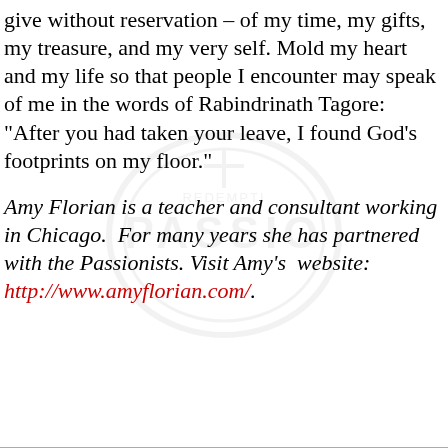give without reservation – of my time, my gifts, my treasure, and my very self. Mold my heart and my life so that people I encounter may speak of me in the words of Rabindrinath Tagore: "After you had taken your leave, I found God's footprints on my floor."
[Figure (logo): Circular watermark with text 'PASSIO' and decorative cross/footprint design, faint background watermark]
Amy Florian is a teacher and consultant working in Chicago.  For many years she has partnered with the Passionists. Visit Amy's  website: http://www.amyflorian.com/.